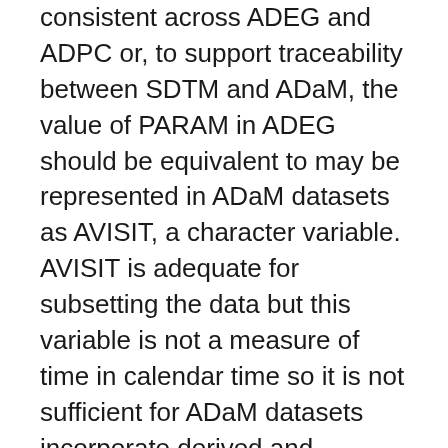consistent across ADEG and ADPC or, to support traceability between SDTM and ADaM, the value of PARAM in ADEG should be equivalent to may be represented in ADaM datasets as AVISIT, a character variable. AVISIT is adequate for subsetting the data but this variable is not a measure of time in calendar time so it is not sufficient for ADaM datasets incorporate derived and collected data (from various SDTM domains, other ADaM datasets, or any combination thereof) into one dataset that permits analysis with little or no additional programming The variables from a clinical trial are used to create multiple ADaM datasets containing a few variables in each with many rows. multiply the number of records the ADaM dataset could have especially if we want to guarantee a good lev el of traceability, thus keeping